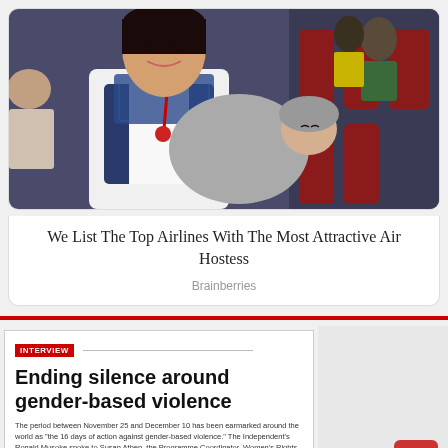[Figure (photo): A flight attendant holding a newborn baby wrapped in a grey blanket on an airplane, with passengers and crew visible in the background.]
We List The Top Airlines With The Most Attractive Air Hostess
Brainberries
INTERVIEW
Ending silence around gender-based violence
The period between November 25 and December 10 has been earmarked around the world as "the 16 days of action against gender-based violence." The Independent's Ronald Musoke spoke to Susan Athen, the Programme Coordinator, Women's Rights and 4 more to Justina of the Uganda Women's Network, about how communities can...